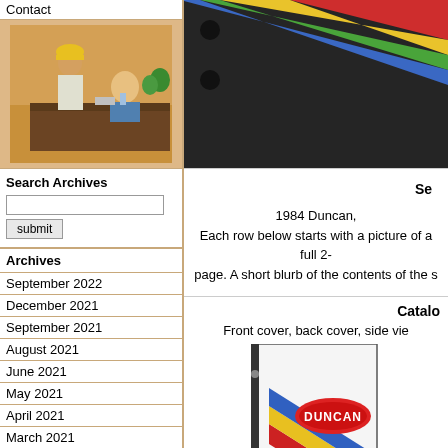Contact
[Figure (photo): Two people at a desk, one standing wearing a yellow hard hat, one seated, indoor setting with plants]
Search Archives
submit
Archives
September 2022
December 2021
September 2021
August 2021
June 2021
May 2021
April 2021
March 2021
January 2021
November 2020
October 2020
[Figure (photo): Rainbow striped graphic with colorful diagonal stripes on dark background, close-up]
Se...
1984 Duncan,
Each row below starts with a picture of a full 2-page. A short blurb of the contents of the s...
Catalo...
Front cover, back cover, side vie...
[Figure (photo): Duncan yo-yo catalog cover with white background, Duncan logo in red oval, and diagonal rainbow stripes (red, yellow, blue)]